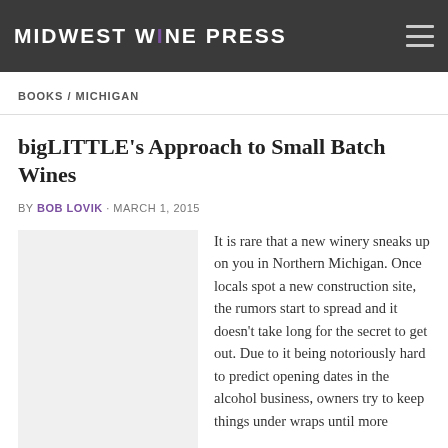MIDWEST WINE PRESS
BOOKS / MICHIGAN
bigLITTLE's Approach to Small Batch Wines
BY BOB LOVIK · MARCH 1, 2015
It is rare that a new winery sneaks up on you in Northern Michigan. Once locals spot a new construction site, the rumors start to spread and it doesn't take long for the secret to get out. Due to it being notoriously hard to predict opening dates in the alcohol business, owners try to keep things under wraps until more